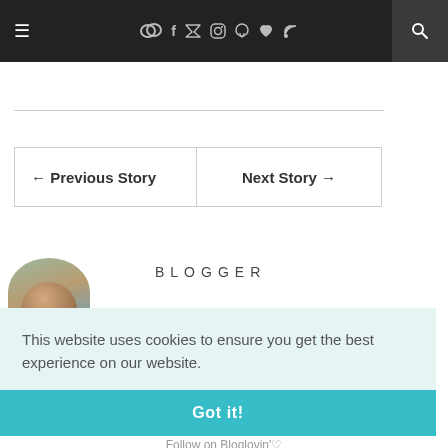≡   ◯◯  f  ✓  ☷  ☷  ♥  ≫   🔍
← Previous Story
Next Story →
BLOGGER
This website uses cookies to ensure you get the best experience on our website.
Learn more
Got it!
Follow on Bloglovin'♡